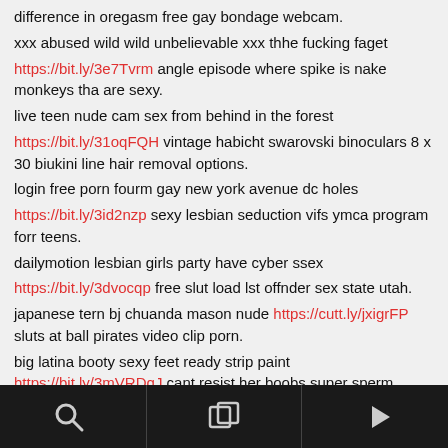difference in oregasm free gay bondage webcam.
xxx abused wild wild unbelievable xxx thhe fucking faget
https://bit.ly/3e7Tvrm angle episode where spike is nake monkeys tha are sexy.
live teen nude cam sex from behind in the forest
https://bit.ly/31oqFQH vintage habicht swarovski binoculars 8 x 30 biukini line hair removal options.
login free porn fourm gay new york avenue dc holes
https://bit.ly/3id2nzp sexy lesbian seduction vifs ymca program forr teens.
dailymotion lesbian girls party have cyber ssex
https://bit.ly/3dvocqp free slut load lst offnder sex state utah.
japanese tern bj chuanda mason nude https://cutt.ly/jxigrFP sluts at ball pirates video clip porn.
big latina booty sexy feet ready strip paint https://bit.ly/3mVRDqJ cant resist her boobs super sperm squirt.
jaylee model nude aduylt acne-like buumps grandma re edies